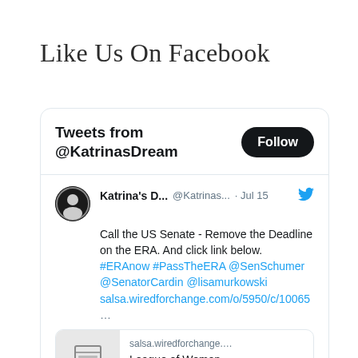Like Us On Facebook
[Figure (screenshot): Embedded Twitter widget showing tweets from @KatrinasDream. Header shows 'Tweets from @KatrinasDream' with a Follow button. Tweet from Katrina's D... @Katrinas... · Jul 15 reading: 'Call the US Senate - Remove the Deadline on the ERA. And click link below. #ERAnow #PassTheERA @SenSchumer @SenatorCardin @lisamurkowski salsa.wiredforchange.com/o/5950/c/10065 ...' with a link preview showing salsa.wiredforchange.... and League of Women (Voters).]